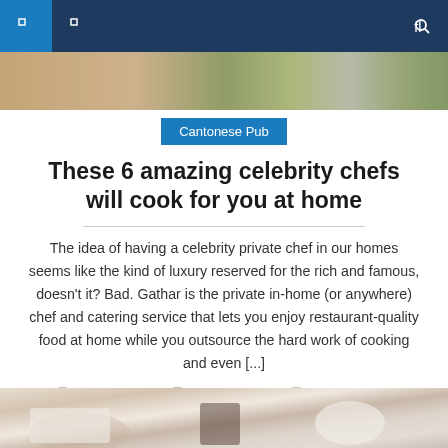Navigation bar with menu icons and search
[Figure (photo): Hero image strip showing food/restaurant scene]
Cantonese Pub
These 6 amazing celebrity chefs will cook for you at home
The idea of having a celebrity private chef in our homes seems like the kind of luxury reserved for the rich and famous, doesn't it? Bad. Gathar is the private in-home (or anywhere) chef and catering service that lets you enjoy restaurant-quality food at home while you outsource the hard work of cooking and even [...]
June 20, 2022   Linda Jennings   Comments Off
[Figure (photo): Bottom image showing hands at dining table with food and drinks]